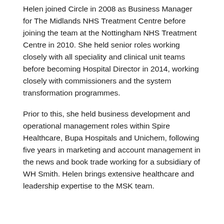Helen joined Circle in 2008 as Business Manager for The Midlands NHS Treatment Centre before joining the team at the Nottingham NHS Treatment Centre in 2010. She held senior roles working closely with all speciality and clinical unit teams before becoming Hospital Director in 2014, working closely with commissioners and the system transformation programmes.
Prior to this, she held business development and operational management roles within Spire Healthcare, Bupa Hospitals and Unichem, following five years in marketing and account management in the news and book trade working for a subsidiary of WH Smith. Helen brings extensive healthcare and leadership expertise to the MSK team.